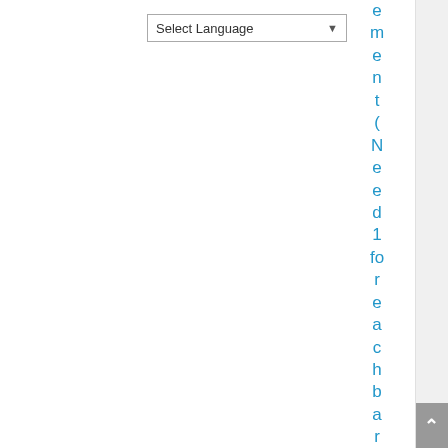[Figure (screenshot): A 'Select Language' dropdown widget in the top-left area of a web page UI]
ement(Need1forreachbar)